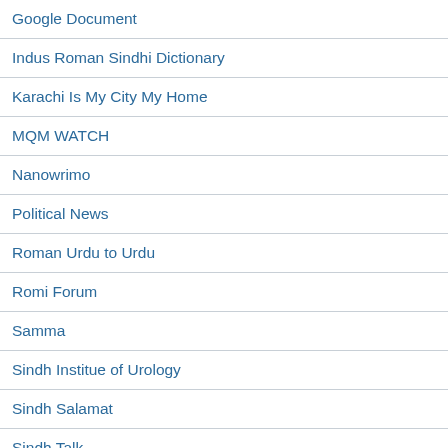Google Document
Indus Roman Sindhi Dictionary
Karachi Is My City My Home
MQM WATCH
Nanowrimo
Political News
Roman Urdu to Urdu
Romi Forum
Samma
Sindh Institue of Urology
Sindh Salamat
Sindh Talk
Sindh-Punjab Water Dispute